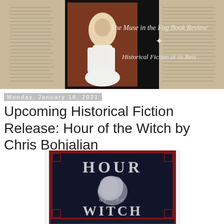[Figure (photo): Banner image for 'The Muse in the Fog Book Review — Historical Fiction at its Best' blog, featuring an oil painting of a woman in a white dress on the left, open books on both sides, and a black center panel with the blog name and tagline in decorative script.]
Monday, January 18, 2021
Upcoming Historical Fiction Release: Hour of the Witch by Chris Bohjalian
[Figure (photo): Book cover of 'Hour of the Witch' by Chris Bohjalian — dark navy background with a red decorative border, large stylized text reading HOUR of the WITCH, with an image of a hand holding a white cloth or object in the center.]